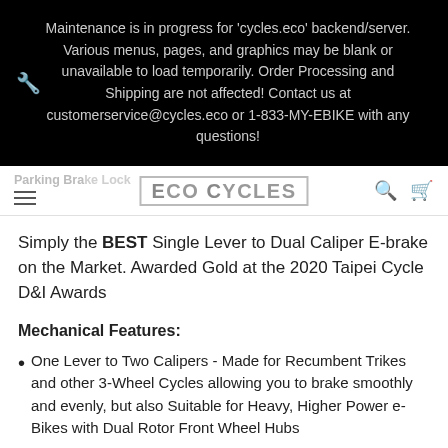Maintenance is in progress for 'cycles.eco' backend/server. Various menus, pages, and graphics may be blank or unavailable to load temporarily. Order Processing and Shipping are not affected! Contact us at customerservice@cycles.eco or 1-833-MY-EBIKE with any questions!
Parking Brake Lock — Eco Cycles
Simply the BEST Single Lever to Dual Caliper E-brake on the Market. Awarded Gold at the 2020 Taipei Cycle D&I Awards
Mechanical Features:
One Lever to Two Calipers - Made for Recumbent Trikes and other 3-Wheel Cycles allowing you to brake smoothly and evenly, but also Suitable for Heavy, Higher Power e-Bikes with Dual Rotor Front Wheel Hubs